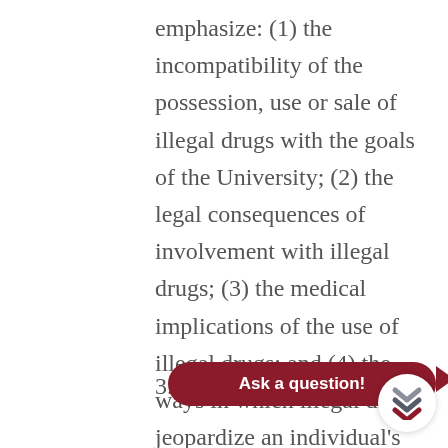emphasize: (1) the incompatibility of the possession, use or sale of illegal drugs with the goals of the University; (2) the legal consequences of involvement with illegal drugs; (3) the medical implications of the use of illegal drugs; and (4) the ways in which illegal drugs jeopardize an individual's present accomplishments and future opportunities.
3.2 NCCU pro... about drug counseling and